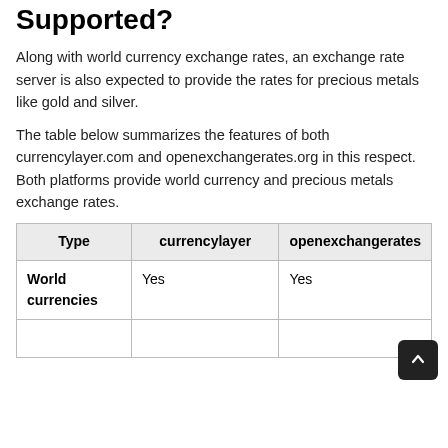Supported?
Along with world currency exchange rates, an exchange rate server is also expected to provide the rates for precious metals like gold and silver.
The table below summarizes the features of both currencylayer.com and openexchangerates.org in this respect. Both platforms provide world currency and precious metals exchange rates.
| Type | currencylayer | openexchangerates |
| --- | --- | --- |
| World currencies | Yes | Yes |
|  |  |  |